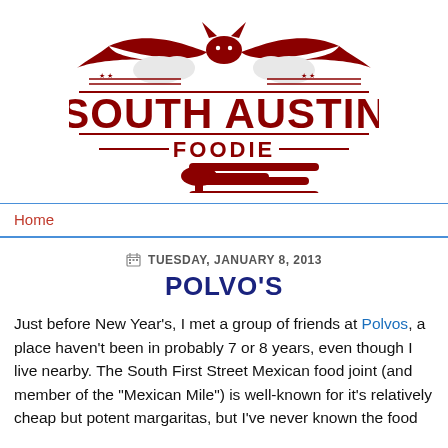[Figure (logo): South Austin Foodie logo with a bat silhouette at top, decorative stars and lines, large text SOUTH AUSTIN FOODIE in dark red, utensil icons below]
Home
TUESDAY, JANUARY 8, 2013
POLVO'S
Just before New Year's, I met a group of friends at Polvos, a place haven't been in probably 7 or 8 years, even though I live nearby. The South First Street Mexican food joint (and member of the "Mexican Mile") is well-known for it's relatively cheap but potent margaritas, but I've never known the food